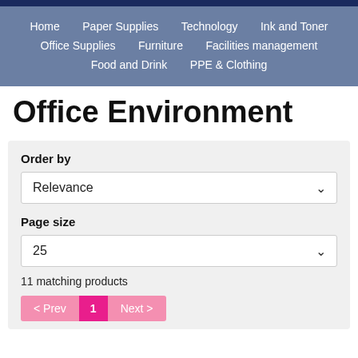Home | Paper Supplies | Technology | Ink and Toner | Office Supplies | Furniture | Facilities management | Food and Drink | PPE & Clothing
Office Environment
Order by
Relevance
Page size
25
11 matching products
< Prev  1  Next >